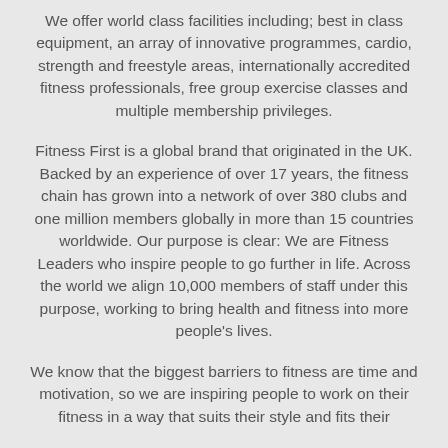We offer world class facilities including; best in class equipment, an array of innovative programmes, cardio, strength and freestyle areas, internationally accredited fitness professionals, free group exercise classes and multiple membership privileges.
Fitness First is a global brand that originated in the UK. Backed by an experience of over 17 years, the fitness chain has grown into a network of over 380 clubs and one million members globally in more than 15 countries worldwide. Our purpose is clear: We are Fitness Leaders who inspire people to go further in life. Across the world we align 10,000 members of staff under this purpose, working to bring health and fitness into more people's lives.
We know that the biggest barriers to fitness are time and motivation, so we are inspiring people to work on their fitness in a way that suits their style and fits their